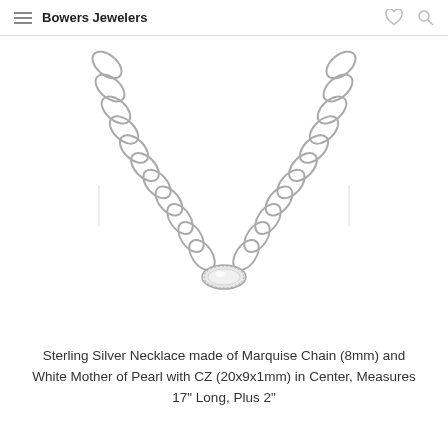Bowers Jewelers
[Figure (photo): Sterling silver necklace made of marquise oval chain links with a marquise-shaped mother of pearl and CZ pendant at center, photographed on white background.]
Sterling Silver Necklace made of Marquise Chain (8mm) and White Mother of Pearl with CZ (20x9x1mm) in Center, Measures 17" Long, Plus 2"